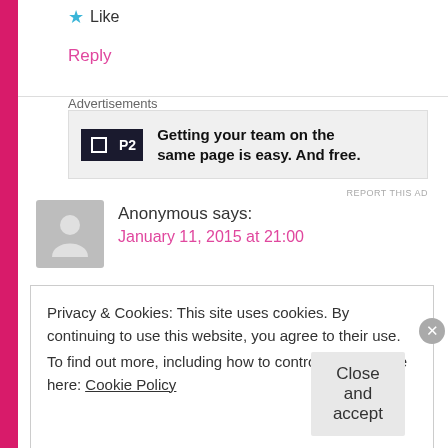★ Like
Reply
Advertisements
[Figure (other): P2 advertisement banner: P2 logo on left, bold text 'Getting your team on the same page is easy. And free.' on right, gray background.]
REPORT THIS AD
Anonymous says:
January 11, 2015 at 21:00
Privacy & Cookies: This site uses cookies. By continuing to use this website, you agree to their use.
To find out more, including how to control cookies, see here: Cookie Policy
Close and accept